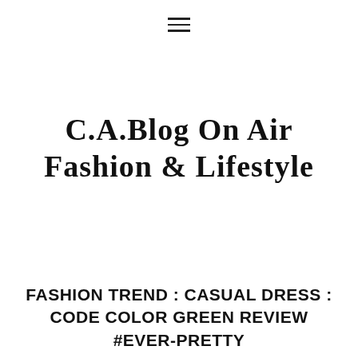≡
C.A.Blog On Air Fashion & Lifestyle
FASHION TREND : CASUAL DRESS : CODE COLOR GREEN REVIEW #EVER-PRETTY